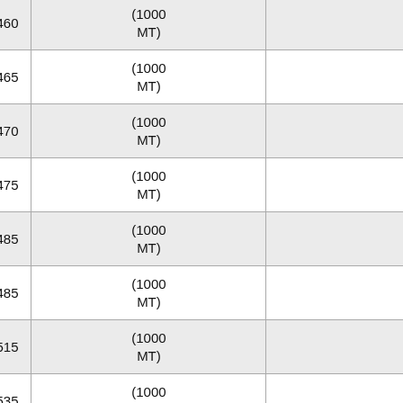| Year | Value | Unit | Other |
| --- | --- | --- | --- |
| 2002 | 460 | (1000 MT) | 1 |
| 2003 | 465 | (1000 MT) | 1 |
| 2004 | 470 | (1000 MT) | 1 |
| 2005 | 475 | (1000 MT) | 1 |
| 2006 | 485 | (1000 MT) | 2 |
| 2007 | 485 | (1000 MT) | 0 |
| 2008 | 515 | (1000 MT) | 6 |
| 2009 | 535 | (1000 MT) | 3 |
| 2010 | 565 | (1000 MT) | 5 |
| 2011 | 585 | (1000 MT) | 3 |
| 2012 | 590 | (1000 MT) | 0 |
| 2013 | 605 | (1000 MT) | 2 |